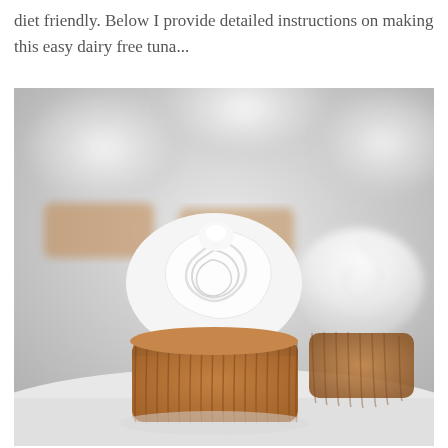diet friendly. Below I provide detailed instructions on making this easy dairy free tuna...
[Figure (photo): Close-up photo of several cupcakes with white swirled frosting in brown paper cupcake liners on a white surface. The foreground cupcake is in sharp focus showing detailed white piped frosting and a golden-brown cake base.]